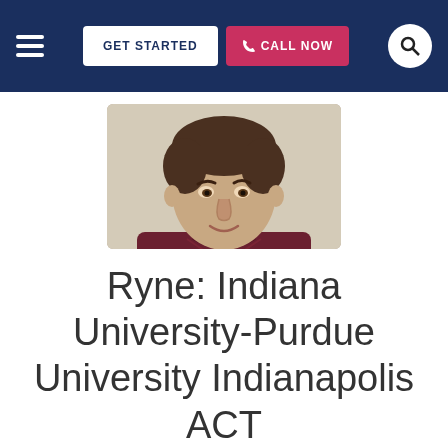GET STARTED | CALL NOW
[Figure (photo): Portrait photo of a young man with short brown hair, wearing a dark red/maroon collared shirt, smiling slightly, against a light background.]
Ryne: Indiana University-Purdue University Indianapolis ACT